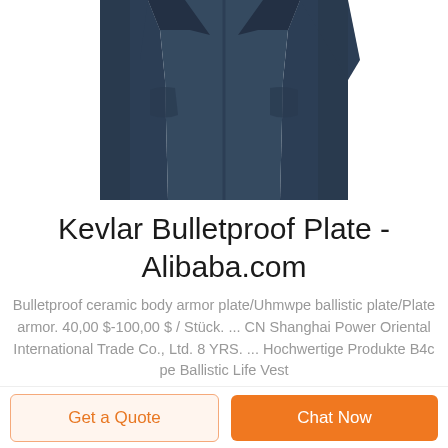[Figure (photo): Navy blue zip-up jacket/bulletproof vest, torso and lower portion visible, product photo on white background]
Kevlar Bulletproof Plate - Alibaba.com
Bulletproof ceramic body armor plate/Uhmwpe ballistic plate/Plate armor. 40,00 $-100,00 $ / Stück. ... CN Shanghai Power Oriental International Trade Co., Ltd. 8 YRS. ... Hochwertige Produkte B4c pe Ballistic Life Vest